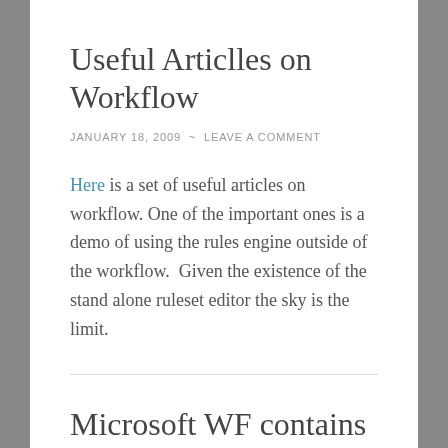Useful Articlles on Workflow
JANUARY 18, 2009  ~  LEAVE A COMMENT
Here is a set of useful articles on workflow. One of the important ones is a demo of using the rules engine outside of the workflow.  Given the existence of the stand alone ruleset editor the sky is the limit.
Microsoft WF contains a rule engine